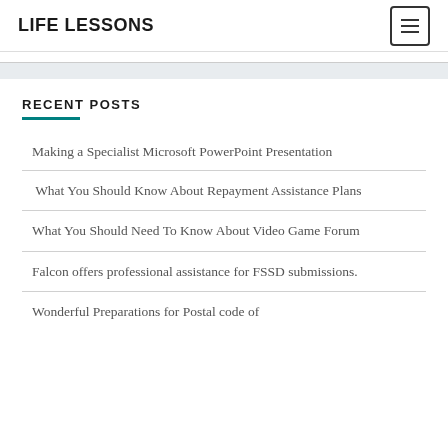LIFE LESSONS
RECENT POSTS
Making a Specialist Microsoft PowerPoint Presentation
What You Should Know About Repayment Assistance Plans
What You Should Need To Know About Video Game Forum
Falcon offers professional assistance for FSSD submissions.
Wonderful Preparations for Postal code of